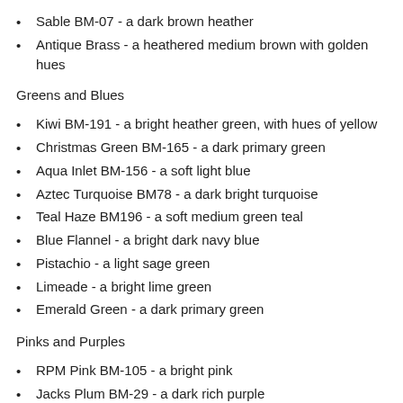Sable BM-07 - a dark brown heather
Antique Brass - a heathered medium brown with golden hues
Greens and Blues
Kiwi BM-191 - a bright heather green, with hues of yellow
Christmas Green BM-165 - a dark primary green
Aqua Inlet BM-156 - a soft light blue
Aztec Turquoise BM78 - a dark bright turquoise
Teal Haze BM196 - a soft medium green teal
Blue Flannel - a bright dark navy blue
Pistachio - a light sage green
Limeade - a bright lime green
Emerald Green - a dark primary green
Pinks and Purples
RPM Pink BM-105 - a bright pink
Jacks Plum BM-29 - a dark rich purple